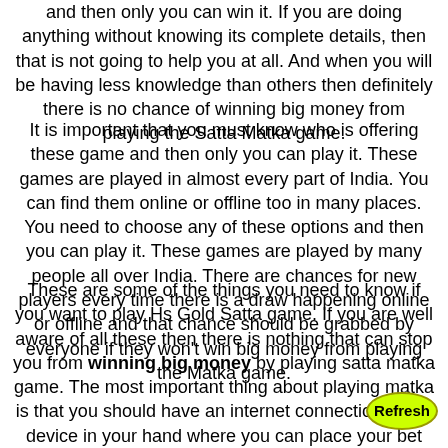and then only you can win it. If you are doing anything without knowing its complete details, then that is not going to help you at all. And when you will be having less knowledge than others then definitely there is no chance of winning big money from playing the Satta Matka game.
It is important that you must know who is offering these game and then only you can play it. These games are played in almost every part of India. You can find them online or offline too in many places. You need to choose any of these options and then you can play it. These games are played by many people all over India. There are chances for new players every time there is a draw happening online or offline and that chance should be grabbed by everyone if they won't win big money from playing the Matka game.
These are some of the things you need to know if you want to play Hs Gold Satta game. If you are well aware of all these then there is nothing that can stop you from winning big money by playing satta matka game. The most important thing about playing matka is that you should have an internet connection and a device in your hand where you can place your bet and spin it. So now without wasting any time get started with playing Hs Gold Satta and keep watching for new updates as well.